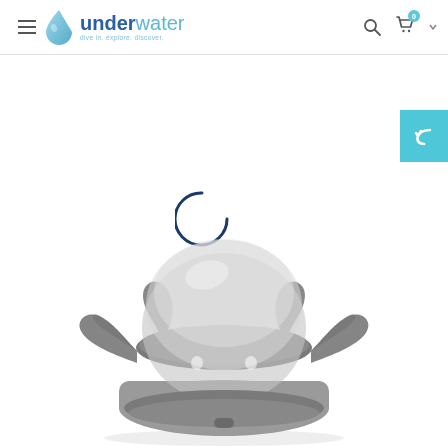underwater — dive in. explore. discover. | navigation bar with search and cart icons
[Figure (screenshot): Back/return button — teal square with white reply/undo arrow icon]
[Figure (illustration): Loading spinner — dark navy blue circular arc (three-quarter circle) indicating page loading]
[Figure (photo): Underwater camera dome port lens — grey molded plastic dome housing with clear glass dome, shown from slightly above angle. Appears to be a wide-angle dome port for an underwater camera housing.]